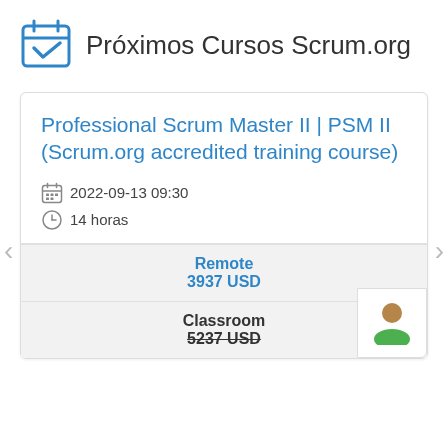Próximos Cursos Scrum.org
Professional Scrum Master II | PSM II (Scrum.org accredited training course)
2022-09-13 09:30
14 horas
Remote
3937 USD
Classroom
5237 USD